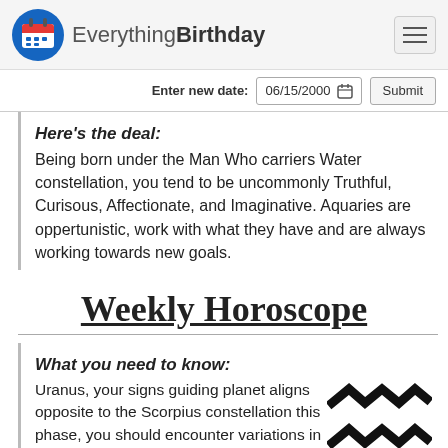EverythingBirthday
Enter new date: 06/15/2000  Submit
Here's the deal:
Being born under the Man Who carriers Water constellation, you tend to be uncommonly Truthful, Curisous, Affectionate, and Imaginative. Aquaries are oppertunistic, work with what they have and are always working towards new goals.
Weekly Horoscope
What you need to know:
Uranus, your signs guiding planet aligns opposite to the Scorpius constellation this phase, you should encounter variations in your current employment position. You may feel irrational with teammates this week.
[Figure (illustration): Aquarius zodiac symbol — two wavy zigzag lines stacked, resembling water waves, in black]